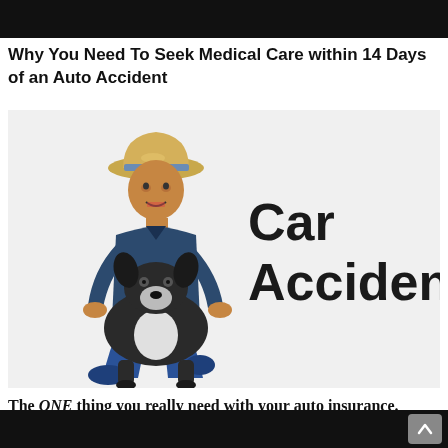Why You Need To Seek Medical Care within 14 Days of an Auto Accident
[Figure (photo): A man wearing a cowboy hat kneeling with a black and white dog, with large bold text reading 'Car Accident?' to the right]
The ONE thing you really need with your auto insurance.